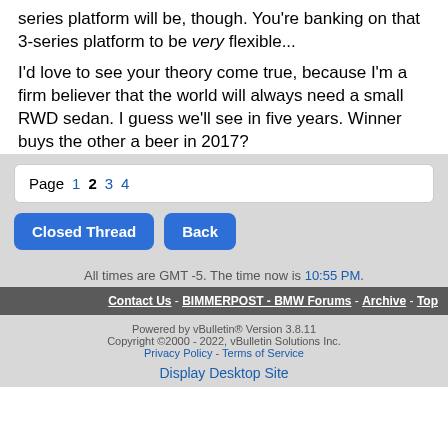series platform will be, though. You're banking on that 3-series platform to be very flexible...
I'd love to see your theory come true, because I'm a firm believer that the world will always need a small RWD sedan. I guess we'll see in five years. Winner buys the other a beer in 2017?
Page 1 2 3 4
Closed Thread   Back
All times are GMT -5. The time now is 10:55 PM.
Contact Us - BIMMERPOST - BMW Forums - Archive - Top
Powered by vBulletin® Version 3.8.11
Copyright ©2000 - 2022, vBulletin Solutions Inc.
Privacy Policy - Terms of Service
Display Desktop Site